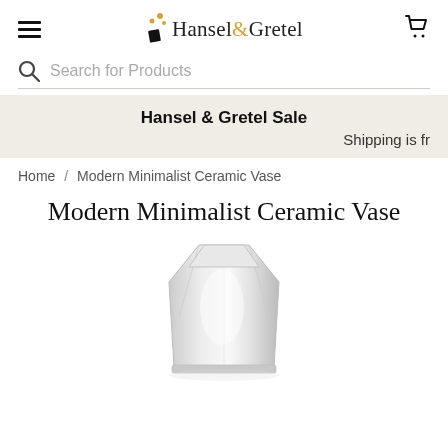Hansel & Gretel
Search for Products
Hansel & Gretel Sale
Shipping is fr
Home / Modern Minimalist Ceramic Vase
Modern Minimalist Ceramic Vase
[Figure (photo): A white/silver modern minimalist ceramic vase with geometric angular faceted shape, photographed on a white background]